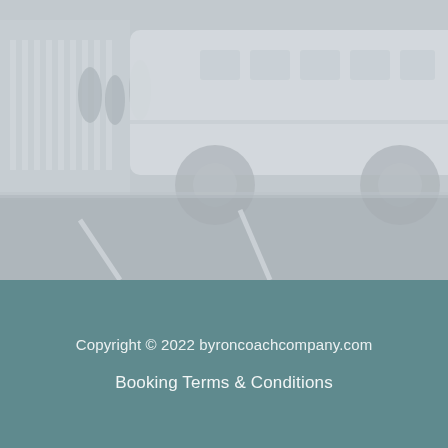[Figure (photo): A large white coach/bus parked on a road at a bus stop, with passengers visible boarding or disembarking. The image has a faded, washed-out appearance with a light gray-blue overlay.]
Copyright © 2022 byroncoachcompany.com
Booking Terms & Conditions